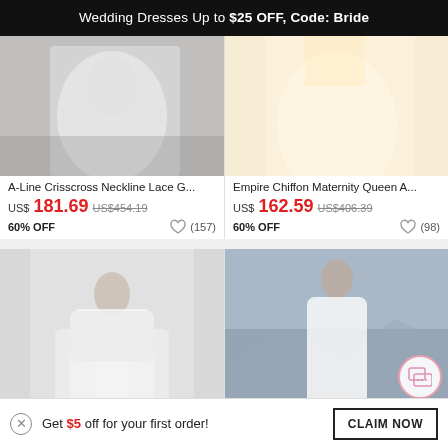Wedding Dresses Up to $25 OFF, Code: Bride
[Figure (photo): A-Line Crisscross Neckline Lace wedding dress photo, black and white tones]
[Figure (photo): Empire Chiffon Maternity Queen wedding dress photo, warm ivory tones]
A-Line Crisscross Neckline Lace G...
Empire Chiffon Maternity Queen A...
US$181.69  US$454.19  60% OFF  (157)
US$162.59  US$406.39  60% OFF  (98)
[Figure (photo): Wedding dress with lace sleeves on a model with upswept hair]
[Figure (photo): White flowing wedding dress on model outdoors near water]
Get $5 off for your first order!
CLAIM NOW